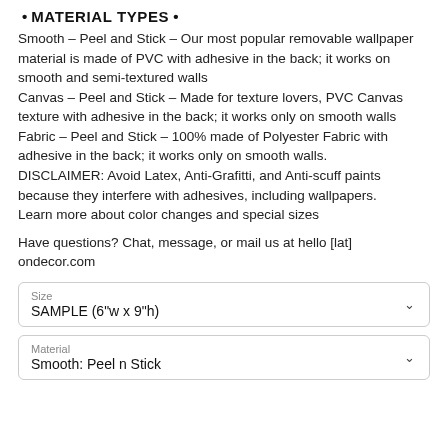• MATERIAL TYPES •
Smooth – Peel and Stick – Our most popular removable wallpaper material is made of PVC with adhesive in the back; it works on smooth and semi-textured walls
Canvas – Peel and Stick – Made for texture lovers, PVC Canvas texture with adhesive in the back; it works only on smooth walls
Fabric – Peel and Stick – 100% made of Polyester Fabric with adhesive in the back; it works only on smooth walls.
DISCLAIMER: Avoid Latex, Anti-Grafitti, and Anti-scuff paints because they interfere with adhesives, including wallpapers.
Learn more about color changes and special sizes
Have questions? Chat, message, or mail us at hello [lat] ondecor.com
| Size |
| --- |
| SAMPLE (6"w x 9"h) |
| Material |
| --- |
| Smooth: Peel n Stick |